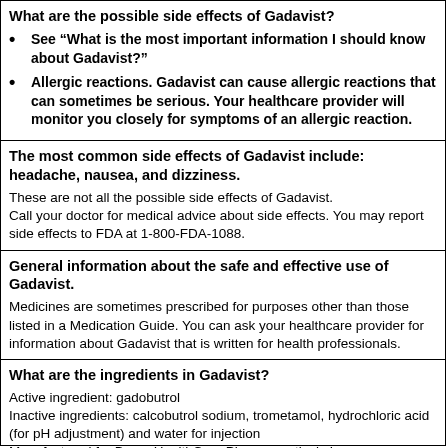What are the possible side effects of Gadavist?
See “What is the most important information I should know about Gadavist?”
Allergic reactions. Gadavist can cause allergic reactions that can sometimes be serious. Your healthcare provider will monitor you closely for symptoms of an allergic reaction.
The most common side effects of Gadavist include: headache, nausea, and dizziness.
These are not all the possible side effects of Gadavist. Call your doctor for medical advice about side effects. You may report side effects to FDA at 1-800-FDA-1088.
General information about the safe and effective use of Gadavist.
Medicines are sometimes prescribed for purposes other than those listed in a Medication Guide. You can ask your healthcare provider for information about Gadavist that is written for health professionals.
What are the ingredients in Gadavist?
Active ingredient: gadobutrol
Inactive ingredients: calcobutrol sodium, trometamol, hydrochloric acid (for pH adjustment) and water for injection
Manufactured for Bayer HealthCare Pharmaceuticals Inc.